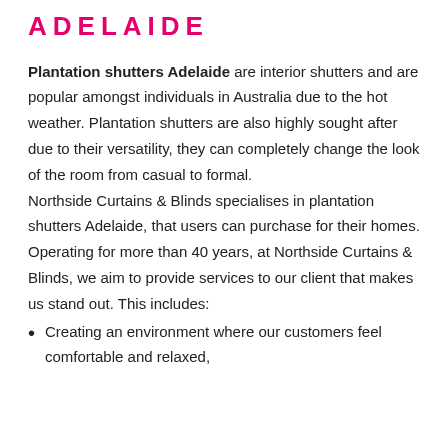ADELAIDE
Plantation shutters Adelaide are interior shutters and are popular amongst individuals in Australia due to the hot weather. Plantation shutters are also highly sought after due to their versatility, they can completely change the look of the room from casual to formal. Northside Curtains & Blinds specialises in plantation shutters Adelaide, that users can purchase for their homes. Operating for more than 40 years, at Northside Curtains & Blinds, we aim to provide services to our client that makes us stand out. This includes:
Creating an environment where our customers feel comfortable and relaxed,